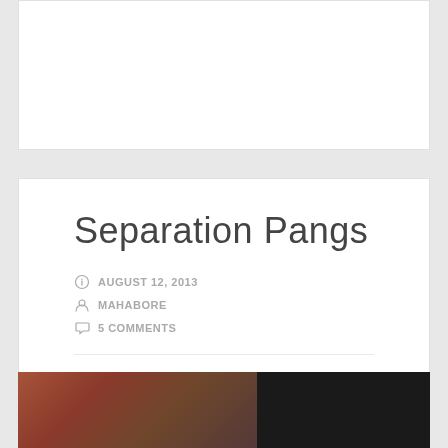[Figure (other): White card area at top of page, appears to be a continuation of content from above]
Separation Pangs
AUGUST 12, 2013
MAHABORE
5 COMMENTS
3 Votes
[Figure (photo): Partial photo at bottom showing a person's face on the left side and dark background on the right]